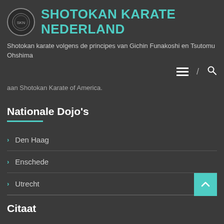SHOTOKAN KARATE NEDERLAND
Shotokan karate volgens de principes van Gichin Funakoshi en Tsutomu Ohshima
aan Shotokan Karate of America.
Nationale Dojo's
Den Haag
Enschede
Utrecht
Citaat